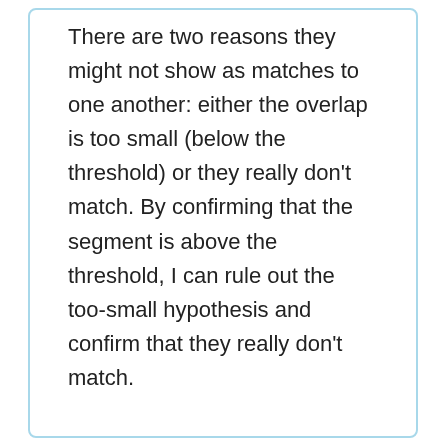There are two reasons they might not show as matches to one another: either the overlap is too small (below the threshold) or they really don't match. By confirming that the segment is above the threshold, I can rule out the too-small hypothesis and confirm that they really don't match.